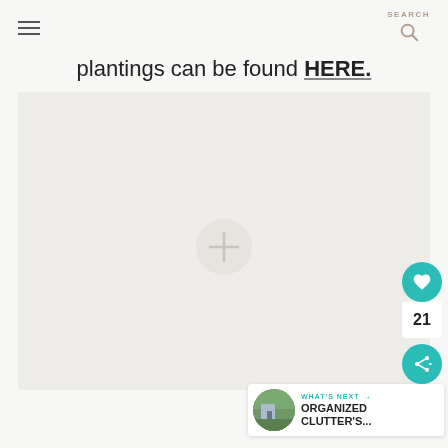SEARCH
plantings can be found HERE.
[Figure (photo): Large mostly blank/light image area — appears to be a garden or outdoor scene, mostly washed out or loading]
21
WHAT'S NEXT → ORGANIZED CLUTTER'S...